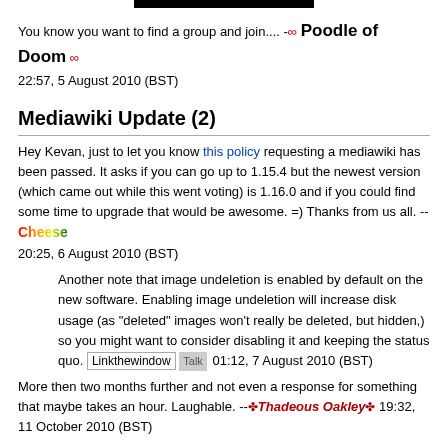You know you want to find a group and join.... -∞ Poodle of Doom ∞ 22:57, 5 August 2010 (BST)
Mediawiki Update (2)
Hey Kevan, just to let you know this policy requesting a mediawiki has been passed. It asks if you can go up to 1.15.4 but the newest version (which came out while this went voting) is 1.16.0 and if you could find some time to upgrade that would be awesome. =) Thanks from us all. -- Cheese 20:25, 6 August 2010 (BST)
Another note that image undeletion is enabled by default on the new software. Enabling image undeletion will increase disk usage (as "deleted" images won't really be deleted, but hidden,) so you might want to consider disabling it and keeping the status quo. Linkthewindow Talk 01:12, 7 August 2010 (BST)
More then two months further and not even a response for something that maybe takes an hour. Laughable. --✤Thadeous Oakley✤ 19:32, 11 October 2010 (BST)
Virus Advertisement
Um... Kevan, I'm not sure if it's your concern, but one of the advertisements